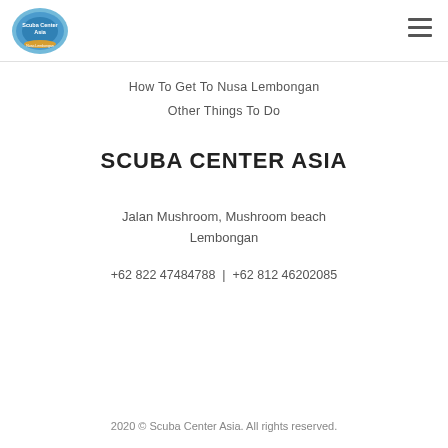[Figure (logo): Scuba Center Asia circular logo with blue water/scuba imagery]
How To Get To Nusa Lembongan
Other Things To Do
SCUBA CENTER ASIA
Jalan Mushroom, Mushroom beach Lembongan
+62 822 47484788 | +62 812 46202085
2020 © Scuba Center Asia. All rights reserved.